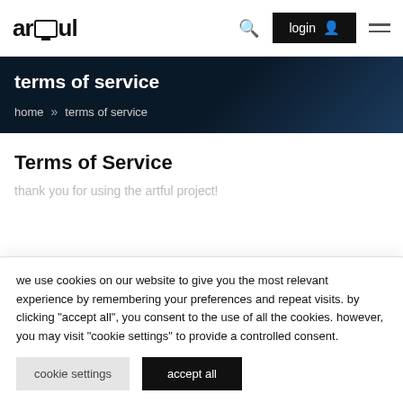artful — login — menu
terms of service
home » terms of service
Terms of Service
thank you for using the artful project!
we use cookies on our website to give you the most relevant experience by remembering your preferences and repeat visits. by clicking "accept all", you consent to the use of all the cookies. however, you may visit "cookie settings" to provide a controlled consent.
cookie settings   accept all